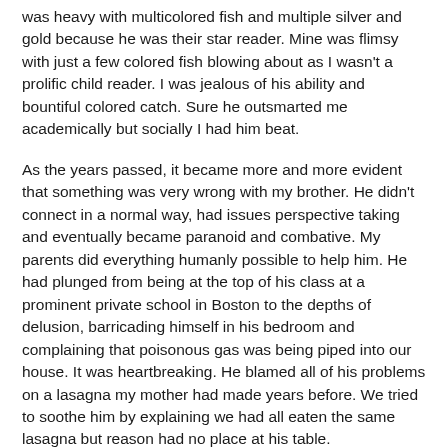was heavy with multicolored fish and multiple silver and gold because he was their star reader. Mine was flimsy with just a few colored fish blowing about as I wasn't a prolific child reader. I was jealous of his ability and bountiful colored catch. Sure he outsmarted me academically but socially I had him beat.
As the years passed, it became more and more evident that something was very wrong with my brother. He didn't connect in a normal way, had issues perspective taking and eventually became paranoid and combative. My parents did everything humanly possible to help him. He had plunged from being at the top of his class at a prominent private school in Boston to the depths of delusion, barricading himself in his bedroom and complaining that poisonous gas was being piped into our house. It was heartbreaking. He blamed all of his problems on a lasagna my mother had made years before. We tried to soothe him by explaining we had all eaten the same lasagna but reason had no place at his table.
It came as a tremendous relief when he was finally diagnosed in high school with paranoid schizophrenia after a complete collapse at yet another private school, this one a boarding school on Long Island. All of his therapists felt he would be better off outside of the family unit and though my parents weren't particularly comfortable